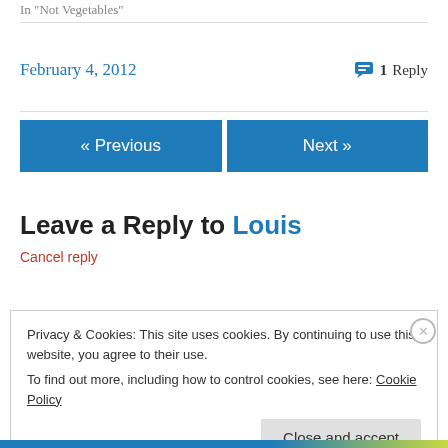In "Not Vegetables"
February 4, 2012   💬 1 Reply
« Previous
Next »
Leave a Reply to Louis
Cancel reply
Privacy & Cookies: This site uses cookies. By continuing to use this website, you agree to their use.
To find out more, including how to control cookies, see here: Cookie Policy
Close and accept